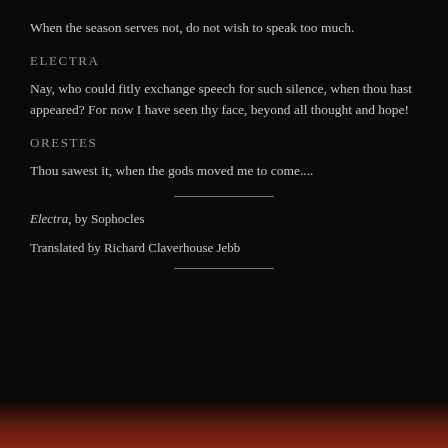When the season serves not, do not wish to speak too much.
ELECTRA
Nay, who could fitly exchange speech for such silence, when thou hast appeared? For now I have seen thy face, beyond all thought and hope!
ORESTES
Thou sawest it, when the gods moved me to come....
Electra, by Sophocles
Translated by Richard Claverhouse Jebb
[Figure (photo): Partial view of a figure at the bottom of the page, warm reddish tones against dark background]